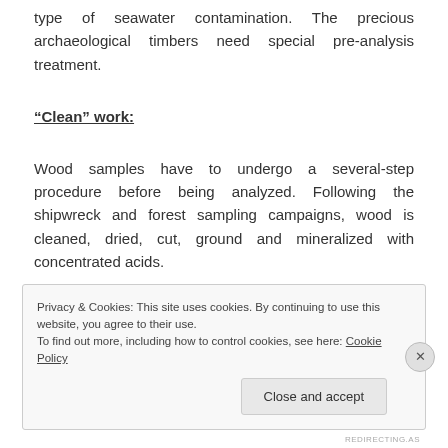type of seawater contamination. The precious archaeological timbers need special pre-analysis treatment.
“Clean” work:
Wood samples have to undergo a several-step procedure before being analyzed. Following the shipwreck and forest sampling campaigns, wood is cleaned, dried, cut, ground and mineralized with concentrated acids.
Privacy & Cookies: This site uses cookies. By continuing to use this website, you agree to their use.
To find out more, including how to control cookies, see here: Cookie Policy
Close and accept